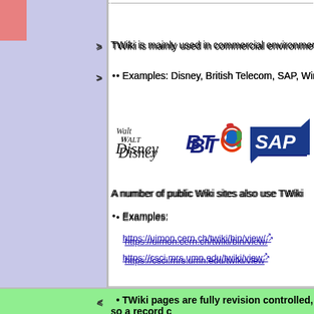TWiki is mainly used in commercial environments, often on c...
Examples: Disney, British Telecom, SAP, Wind River, N...
[Figure (logo): Logos of Walt Disney, BT, and SAP]
A number of public Wiki sites also use TWiki
Examples:
https://uimon.cern.ch/twiki/bin/view/
https://csci.mrs.umn.edu/twiki/view
TWiki Features
TWiki builds on the original Wiki concept and adds a number... a business environment.
Changed:
TWiki pages are fully revision controlled, so a record c...